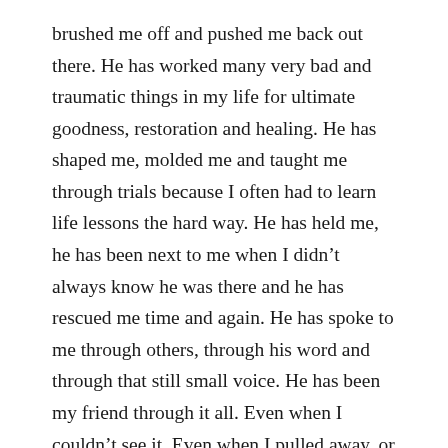brushed me off and pushed me back out there. He has worked many very bad and traumatic things in my life for ultimate goodness, restoration and healing. He has shaped me, molded me and taught me through trials because I often had to learn life lessons the hard way. He has held me, he has been next to me when I didn't always know he was there and he has rescued me time and again. He has spoke to me through others, through his word and through that still small voice. He has been my friend through it all. Even when I couldn't see it. Even when I pulled away, or screwed up, he waited patiently for me to come around.
A few years ago I went through biblical counselor training and certification. It was a time of great healing and breakthroughs in my life. God showed me how...